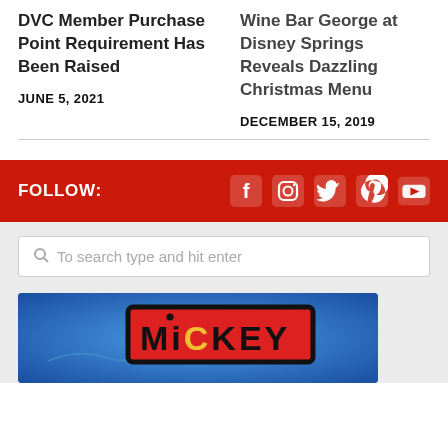DVC Member Purchase Point Requirement Has Been Raised
JUNE 5, 2021
Wine Bar George at Disney Springs Reveals Dazzling Christmas Menu
DECEMBER 15, 2019
FOLLOW:
[Figure (screenshot): Search bar with placeholder text: To search type and hit enter]
[Figure (photo): Mickey logo sign on blue background]